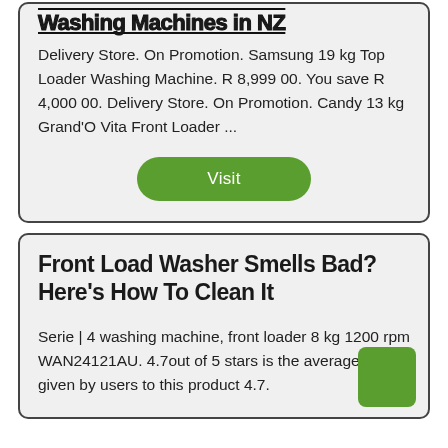Delivery Store. On Promotion. Samsung 19 kg Top Loader Washing Machine. R 8,999 00. You save R 4,000 00. Delivery Store. On Promotion. Candy 13 kg Grand'O Vita Front Loader ...
[Figure (other): Green rounded rectangle button with white text 'Visit']
Front Load Washer Smells Bad? Here's How To Clean It
Serie | 4 washing machine, front loader 8 kg 1200 rpm WAN24121AU. 4.7out of 5 stars is the average score given by users to this product 4.7.